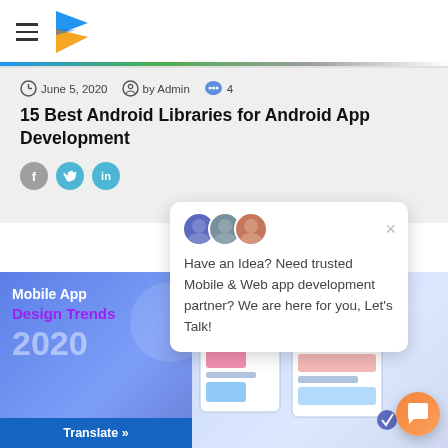15 Best Android Libraries for Android App Development
June 5, 2020  by Admin  4
15 Best Android Libraries for Android App Development
[Figure (screenshot): Blog post page header with navigation bar, article metadata, title, social share buttons, chat popup with avatar images showing 'Have an Idea? Need trusted Mobile & Web app development partner? We are here for you, Let's Talk!', and a Mobile App Design Trends 2020 banner image with Translate button]
Have an Idea? Need trusted Mobile & Web app development partner? We are here for you, Let's Talk!
Mobile App Design Trends 2020
Translate »